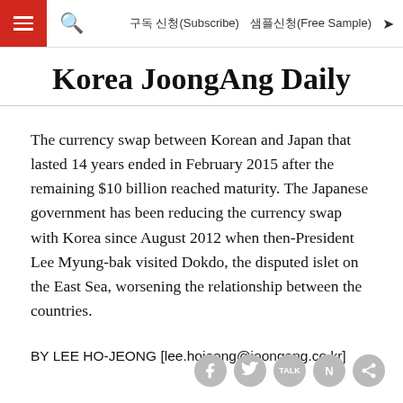구독 신청(Subscribe)  샘플신청(Free Sample)
Korea JoongAng Daily
The currency swap between Korean and Japan that lasted 14 years ended in February 2015 after the remaining $10 billion reached maturity. The Japanese government has been reducing the currency swap with Korea since August 2012 when then-President Lee Myung-bak visited Dokdo, the disputed islet on the East Sea, worsening the relationship between the countries.
BY LEE HO-JEONG [lee.hojeong@joongang.co.kr]